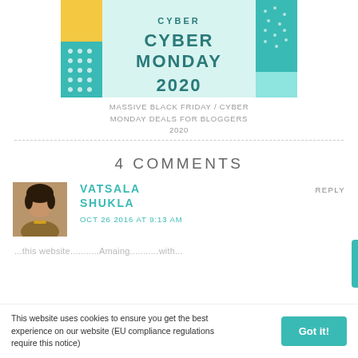[Figure (illustration): Cyber Monday 2020 promotional banner with teal background, yellow accent, and bold teal text reading CYBER MONDAY 2020]
MASSIVE BLACK FRIDAY / CYBER MONDAY DEALS FOR BLOGGERS 2020
4 COMMENTS
VATSALA SHUKLA
OCT 26 2016 AT 9:13 AM
...this website...
This website uses cookies to ensure you get the best experience on our website (EU compliance regulations require this notice)